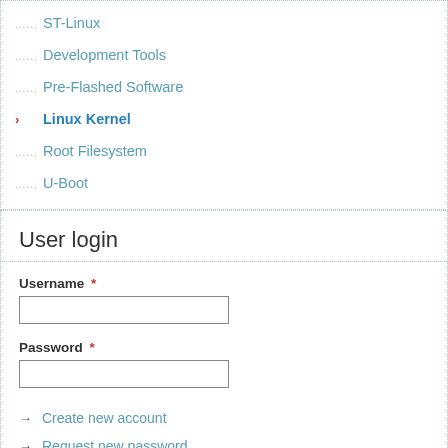ST-Linux
Development Tools
Pre-Flashed Software
Linux Kernel
Root Filesystem
U-Boot
User login
Username *
Password *
→ Create new account
→ Request new password
Log in